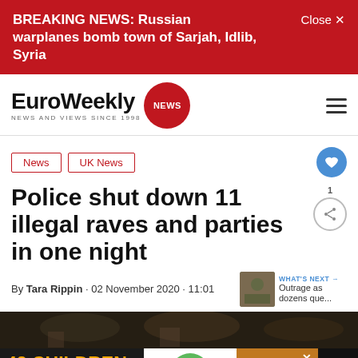BREAKING NEWS: Russian warplanes bomb town of Sarjah, Idlib, Syria  Close ×
[Figure (logo): EuroWeekly NEWS logo with red circle badge, tagline NEWS AND VIEWS SINCE 1998]
News
UK News
Police shut down 11 illegal raves and parties in one night
By Tara Rippin · 02 November 2020 · 11:01
WHAT'S NEXT → Outrage as dozens que...
[Figure (photo): Dark photo strip of people at a rave/party]
[Figure (infographic): Advertisement banner: 43 CHILDREN A Day Are Diagnosed With Cancer in the U.S. | cookies for kids cancer | Let's Get Baking]